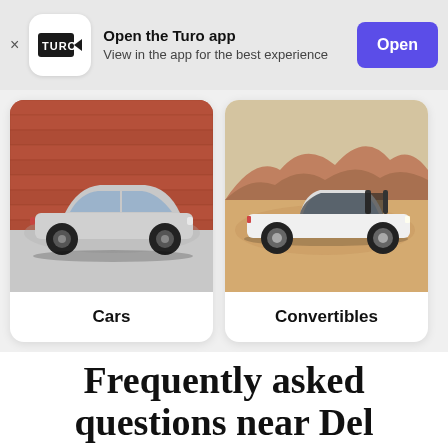[Figure (screenshot): Turo app banner with close button, Turo logo, text 'Open the Turo app / View in the app for the best experience', and purple 'Open' button]
[Figure (photo): Silver sedan (Toyota Camry) side profile against red brick wall — Cars category card]
Cars
[Figure (photo): White convertible (BMW) side profile in desert landscape — Convertibles category card]
Convertibles
Frequently asked questions near Del